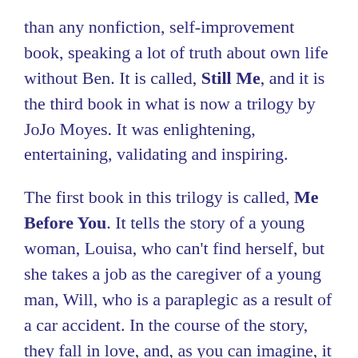than any nonfiction, self-improvement book, speaking a lot of truth about own life without Ben. It is called, Still Me, and it is the third book in what is now a trilogy by JoJo Moyes. It was enlightening, entertaining, validating and inspiring.
The first book in this trilogy is called, Me Before You. It tells the story of a young woman, Louisa, who can't find herself, but she takes a job as the caregiver of a young man, Will, who is a paraplegic as a result of a car accident. In the course of the story, they fall in love, and, as you can imagine, it is complicated.
I remember being in a bookstore with a friend, and when I looked at the book, he said it was great, but I